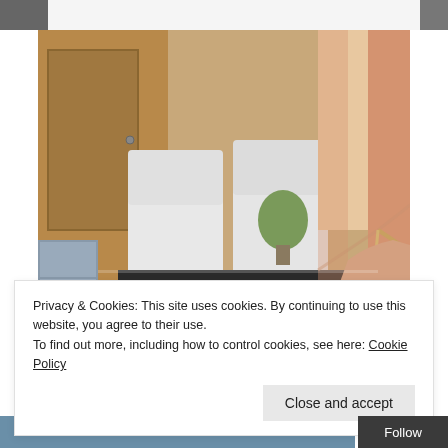[Figure (photo): Partial image strip at top of page showing dark/gray fragments on white background]
[Figure (photo): Interior dining room scene with white upholstered chairs around a dark table; a hand holds a paintbrush over a decorative gray sign reading 'EE FAR'; wooden cabinet and window with curtains in background]
Privacy & Cookies: This site uses cookies. By continuing to use this website, you agree to their use.
To find out more, including how to control cookies, see here: Cookie Policy
[Figure (photo): Partial bottom image strip showing blue/teal tones, partially obscured by cookie banner and Follow bar]